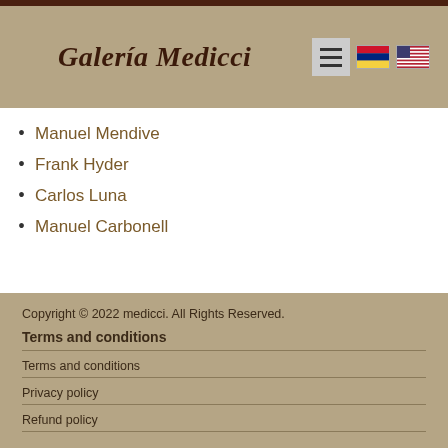Galería Medicci
Manuel Mendive
Frank Hyder
Carlos Luna
Manuel Carbonell
Copyright © 2022 medicci. All Rights Reserved.
Terms and conditions
Terms and conditions
Privacy policy
Refund policy